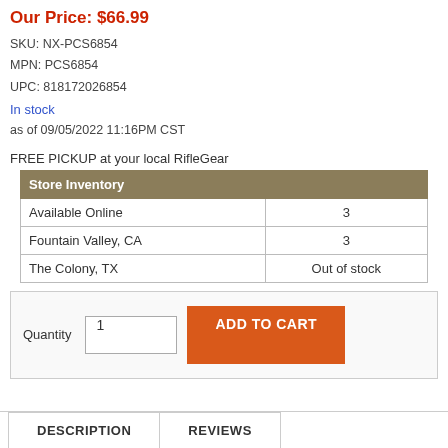Our Price: $66.99
SKU: NX-PCS6854
MPN: PCS6854
UPC: 818172026854
In stock
as of 09/05/2022 11:16PM CST
FREE PICKUP at your local RifleGear
| Store Inventory |  |
| --- | --- |
| Available Online | 3 |
| Fountain Valley, CA | 3 |
| The Colony, TX | Out of stock |
Quantity  1  ADD TO CART
DESCRIPTION    REVIEWS